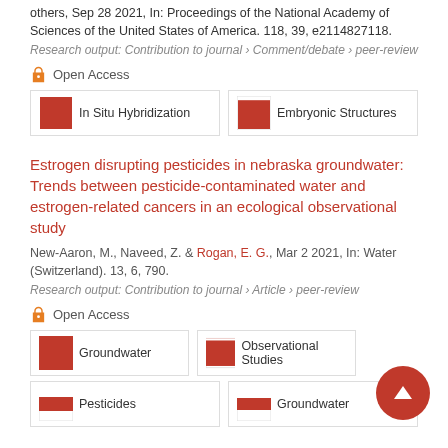others, Sep 28 2021, In: Proceedings of the National Academy of Sciences of the United States of America. 118, 39, e2114827118.
Research output: Contribution to journal › Comment/debate › peer-review
Open Access
In Situ Hybridization
Embryonic Structures
Estrogen disrupting pesticides in nebraska groundwater: Trends between pesticide-contaminated water and estrogen-related cancers in an ecological observational study
New-Aaron, M., Naveed, Z. & Rogan, E. G., Mar 2 2021, In: Water (Switzerland). 13, 6, 790.
Research output: Contribution to journal › Article › peer-review
Open Access
Groundwater
Observational Studies
Pesticides
Groundwater